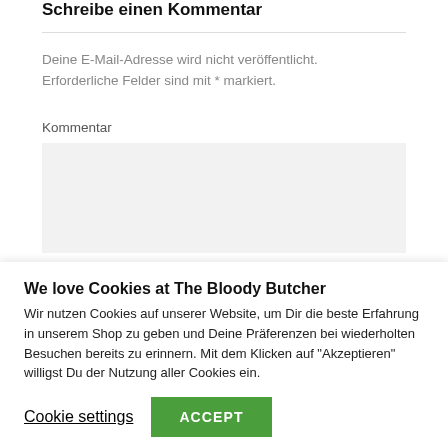Schreibe einen Kommentar
Deine E-Mail-Adresse wird nicht veröffentlicht. Erforderliche Felder sind mit * markiert.
Kommentar
[Figure (screenshot): Empty textarea / comment input box with light gray background]
We love Cookies at The Bloody Butcher
Wir nutzen Cookies auf unserer Website, um Dir die beste Erfahrung in unserem Shop zu geben und Deine Präferenzen bei wiederholten Besuchen bereits zu erinnern. Mit dem Klicken auf "Akzeptieren" willigst Du der Nutzung aller Cookies ein.
Cookie settings
ACCEPT